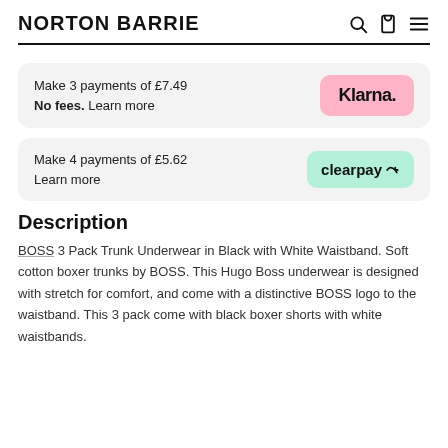NORTON BARRIE
Make 3 payments of £7.49
No fees. Learn more
Make 4 payments of £5.62
Learn more
Description
BOSS 3 Pack Trunk Underwear in Black with White Waistband. Soft cotton boxer trunks by BOSS. This Hugo Boss underwear is designed with stretch for comfort, and come with a distinctive BOSS logo to the waistband. This 3 pack come with black boxer shorts with white waistbands.